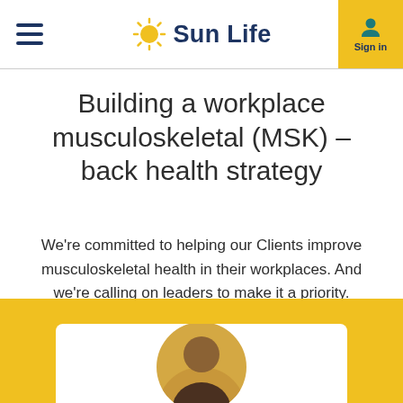Sun Life
Building a workplace musculoskeletal (MSK) – back health strategy
We're committed to helping our Clients improve musculoskeletal health in their workplaces. And we're calling on leaders to make it a priority.
[Figure (photo): Partial photo of a person at the bottom of the page within a yellow section background with white card area]